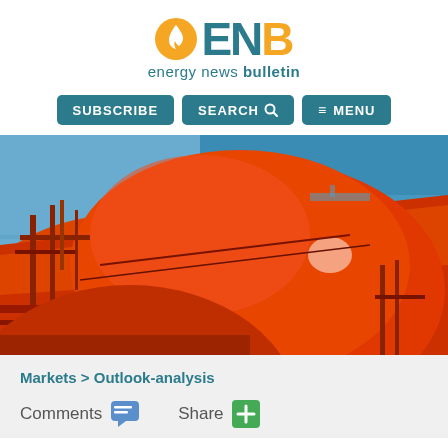[Figure (logo): ENB Energy News Bulletin logo with orange flame icon and teal/orange text]
[Figure (other): Navigation buttons: SUBSCRIBE, SEARCH, MENU in teal rounded rectangles]
[Figure (photo): Aerial photo of a large red LNG tanker ship at sea, showing spherical cargo tanks from above with blue ocean in background]
Markets > Outlook-analysis
Comments   Share